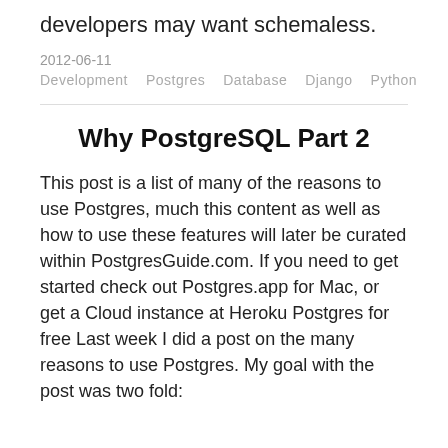developers may want schemaless.
2012-06-11
Development   Postgres   Database   Django   Python
Why PostgreSQL Part 2
This post is a list of many of the reasons to use Postgres, much this content as well as how to use these features will later be curated within PostgresGuide.com. If you need to get started check out Postgres.app for Mac, or get a Cloud instance at Heroku Postgres for free Last week I did a post on the many reasons to use Postgres. My goal with the post was two fold: